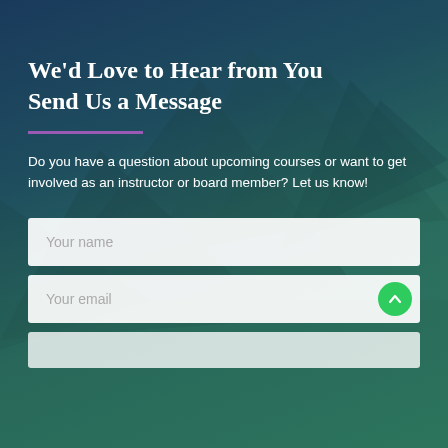We'd Love to Hear from You
Send Us a Message
Do you have a question about upcoming courses or want to get involved as an instructor or board member?  Let us know!
[Figure (other): Contact form with fields: Your name, Your email, and a third partially visible field. A green circular scroll-up button overlays the email field.]